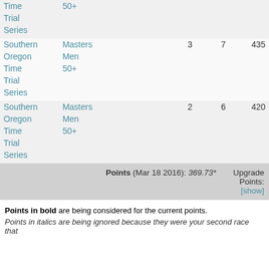| Col1 | Col2 |  |  |  |
| --- | --- | --- | --- | --- |
| Time | 50+ |  |  |  |
| Trial |  |  |  |  |
| Series |  |  |  |  |
| Southern | Masters |  | 3 | 7 | 435 |
| Oregon | Men |  |  |  |
| Time | 50+ |  |  |  |
| Trial |  |  |  |  |
| Series |  |  |  |  |
| Southern | Masters |  | 2 | 6 | 420 |
| Oregon | Men |  |  |  |
| Time | 50+ |  |  |  |
| Trial |  |  |  |  |
| Series |  |  |  |  |
Points (Mar 18 2016): 369.73*   Upgrade Points: [show]
Points in bold are being considered for the current points.
Points in italics are being ignored because they were your second race that